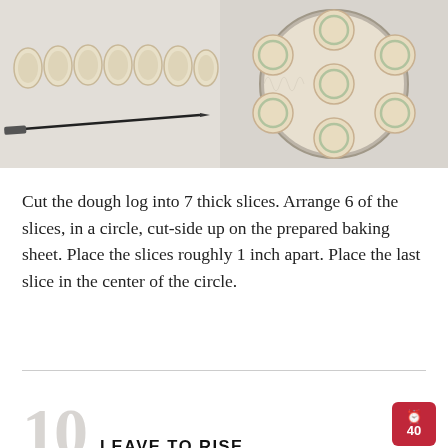[Figure (photo): Left photo: dough log cut into 7 thick slices laid in a row on a floured surface, with a knife beside them]
[Figure (photo): Right photo: 7 spiral dough rolls arranged in a circle (6 around 1 center) in a round baking pan lined with parchment paper]
Cut the dough log into 7 thick slices. Arrange 6 of the slices, in a circle, cut-side up on the prepared baking sheet. Place the slices roughly 1 inch apart. Place the last slice in the center of the circle.
10 LEAVE TO RISE